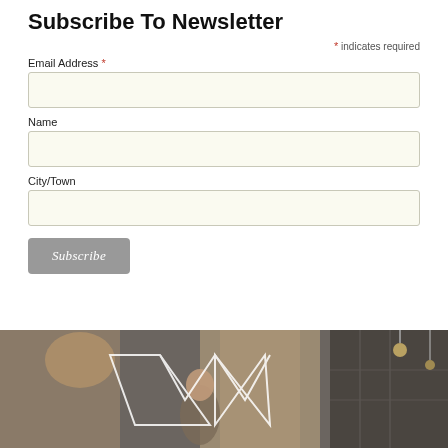Subscribe To Newsletter
* indicates required
Email Address *
Name
City/Town
Subscribe
[Figure (photo): Interior scene with a woman and a geometric W logo overlay in white lines, dark background with pendant lights]